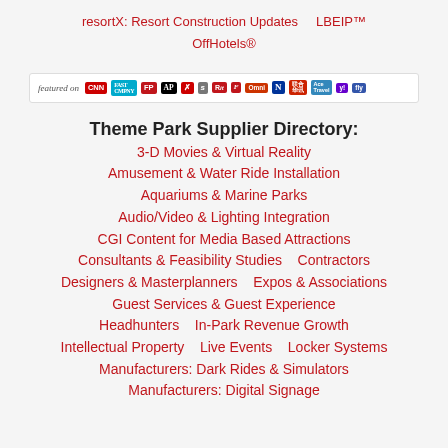resortX: Resort Construction Updates    LBEIP™ OffHotels®
[Figure (logo): Media logos bar: featured on CNN, Fast Company, FP, AP, X (Times?), S, Rit, Focus, Omni, N, Chinese network, Ace Travel, Yahoo, Fly]
Theme Park Supplier Directory:
3-D Movies & Virtual Reality
Amusement & Water Ride Installation
Aquariums & Marine Parks
Audio/Video & Lighting Integration
CGI Content for Media Based Attractions
Consultants & Feasibility Studies    Contractors
Designers & Masterplanners    Expos & Associations
Guest Services & Guest Experience
Headhunters    In-Park Revenue Growth
Intellectual Property    Live Events    Locker Systems
Manufacturers: Dark Rides & Simulators
Manufacturers: Digital Signage